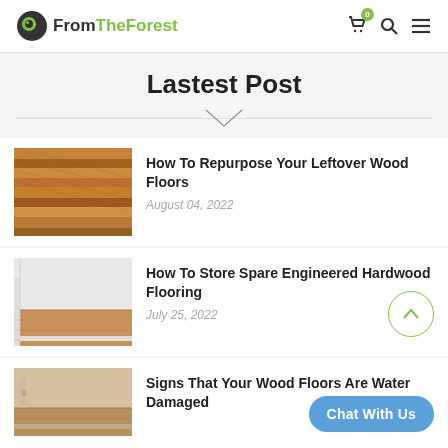FromTheForest — header with logo, cart (0), search, menu
Lastest Post
[Figure (photo): Close-up of stacked wood floor planks showing grain and warm tones]
How To Repurpose Your Leftover Wood Floors
August 04, 2022
[Figure (photo): Empty room corner with white walls and light hardwood flooring installed]
How To Store Spare Engineered Hardwood Flooring
July 25, 2022
[Figure (photo): Room corner with wood flooring showing water damage or staining]
Signs That Your Wood Floors Are Water Damaged